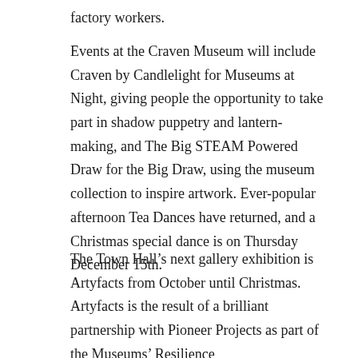factory workers.
Events at the Craven Museum will include Craven by Candlelight for Museums at Night, giving people the opportunity to take part in shadow puppetry and lantern-making, and The Big STEAM Powered Draw for the Big Draw, using the museum collection to inspire artwork. Ever-popular afternoon Tea Dances have returned, and a Christmas special dance is on Thursday December 15th.
The Town Hall’s next gallery exhibition is Artyfacts from October until Christmas. Artyfacts is the result of a brilliant partnership with Pioneer Projects as part of the Museums’ Resilience